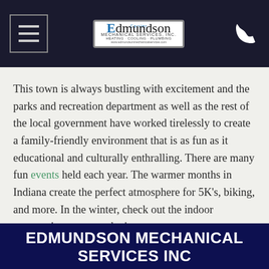Edmundson Mechanical Services Inc – HEATING · COOLING · PLUMBING
This town is always bustling with excitement and the parks and recreation department as well as the rest of the local government have worked tirelessly to create a family-friendly environment that is as fun as it educational and culturally enthralling. There are many fun events held each year. The warmer months in Indiana create the perfect atmosphere for 5K's, biking, and more. In the winter, check out the indoor gymnastics center or the ice arena.
EDMUNDSON MECHANICAL SERVICES INC
HOME
PRODUCTS